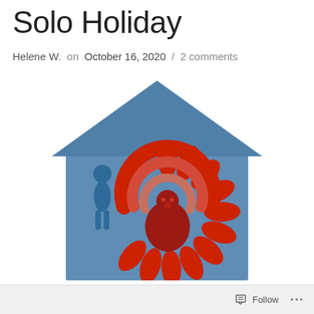Solo Holiday
Helene W. on October 16, 2020 / 2 comments
[Figure (illustration): A blue house silhouette containing a stylized turkey illustration in red and dark red tones, with a small blue person figure standing to the left inside the house. The turkey has a fan of red feathers and a round dark red body with red eyes. The house has a triangular roof.]
Follow ...